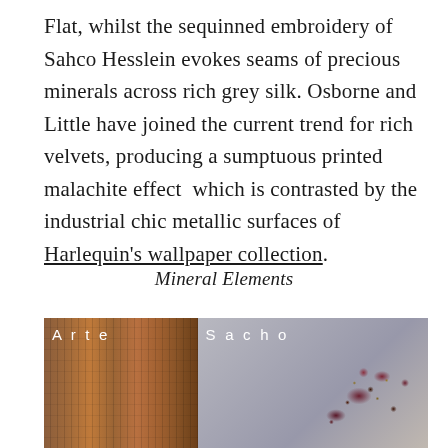Flat, whilst the sequinned embroidery of Sahco Hesslein evokes seams of precious minerals across rich grey silk. Osborne and Little have joined the current trend for rich velvets, producing a sumptuous printed malachite effect  which is contrasted by the industrial chic metallic surfaces of Harlequin's wallpaper collection.
Mineral Elements
[Figure (photo): Split image showing two fabric/wallpaper samples side by side. Left half labeled 'Arte' shows a wood-effect textured surface in warm brown/copper tones with vertical lines. Right half labeled 'Sacho' shows a grey silk fabric with sequinned embroidery featuring clusters of dark red/burgundy and small golden beads.]